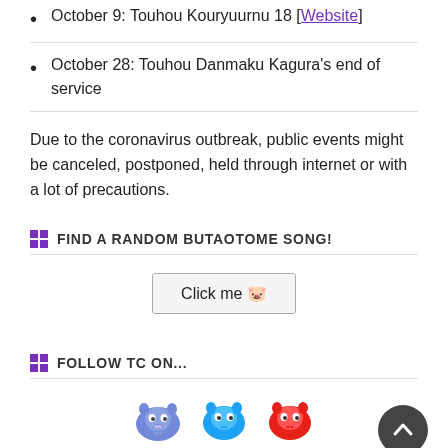October 9: Touhou Kouryuurnu 18 [Website]
October 28: Touhou Danmaku Kagura's end of service
Due to the coronavirus outbreak, public events might be canceled, postponed, held through internet or with a lot of precautions.
FIND A RANDOM BUTAOTOME SONG!
[Figure (other): A button labeled 'Click me' with a pig emoji]
FOLLOW TC ON...
[Figure (other): Social media pig icons for Discord (blue-purple), Twitter (blue), and YouTube (red), plus a scroll-to-top button (dark circle with up arrow)]